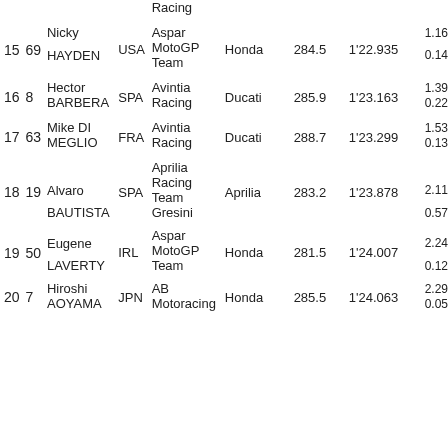| Pos | # | Name | Nat | Team | Bike | Speed | Time | Gap |
| --- | --- | --- | --- | --- | --- | --- | --- | --- |
| 15 | 69 | Nicky HAYDEN | USA | Aspar MotoGP Team | Honda | 284.5 | 1'22.935 | 1.16 / 0.14 |
| 16 | 8 | Hector BARBERA | SPA | Avintia Racing | Ducati | 285.9 | 1'23.163 | 1.39 / 0.22 |
| 17 | 63 | Mike DI MEGLIO | FRA | Avintia Racing | Ducati | 288.7 | 1'23.299 | 1.53 / 0.13 |
| 18 | 19 | Alvaro BAUTISTA | SPA | Aprilia Racing Team Gresini | Aprilia | 283.2 | 1'23.878 | 2.11 / 0.57 |
| 19 | 50 | Eugene LAVERTY | IRL | Aspar MotoGP Team | Honda | 281.5 | 1'24.007 | 2.24 / 0.12 |
| 20 | 7 | Hiroshi AOYAMA | JPN | AB Motoracing | Honda | 285.5 | 1'24.063 | 2.29 / 0.05 |